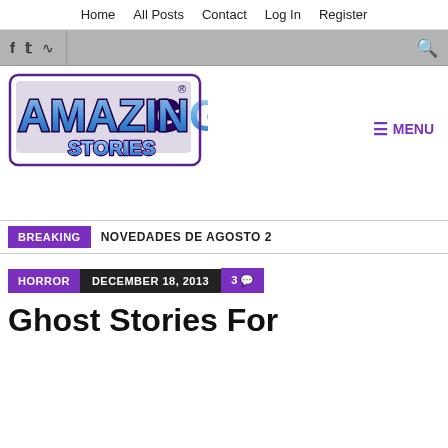Home   All Posts   Contact   Log In   Register
[Figure (logo): Amazing Stories logo with stylized blue/purple comic book lettering]
≡ MENU
BREAKING   NOVEDADES DE AGOSTO 2
HORROR   DECEMBER 18, 2013   3
Ghost Stories For